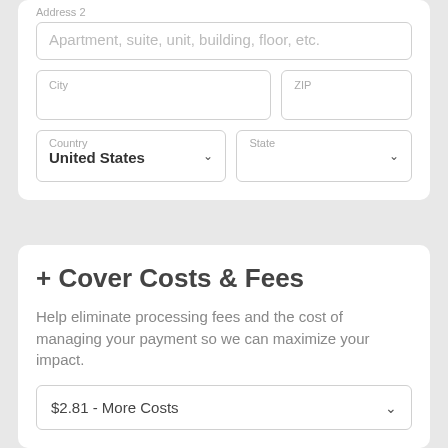Address 2
Apartment, suite, unit, building, floor, etc.
City
ZIP
Country
United States
State
+ Cover Costs & Fees
Help eliminate processing fees and the cost of managing your payment so we can maximize your impact.
$2.81 - More Costs